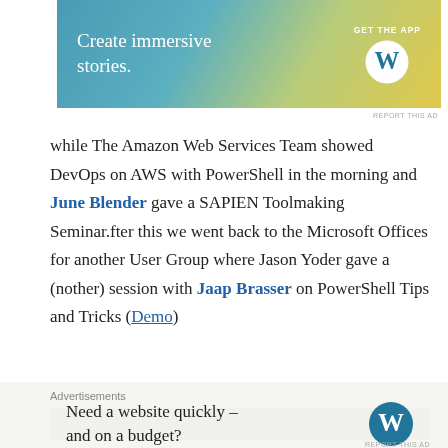[Figure (other): WordPress advertisement banner: 'Create immersive stories. GET THE APP' with WordPress logo on teal/yellow gradient background]
while The Amazon Web Services Team showed DevOps on AWS with PowerShell in the morning and June Blender gave a SAPIEN Toolmaking Seminar.fter this we went back to the Microsoft Offices for another User Group where Jason Yoder gave a (nother) session with Jaap Brasser on PowerShell Tips and Tricks (Demo)
[Figure (photo): Photo of a presentation room with two projected screens showing software/code, one person sitting on left and another person standing with arms raised on the right]
Advertisements
[Figure (other): WordPress advertisement: 'Need a website quickly – and on a budget?' with WordPress logo]